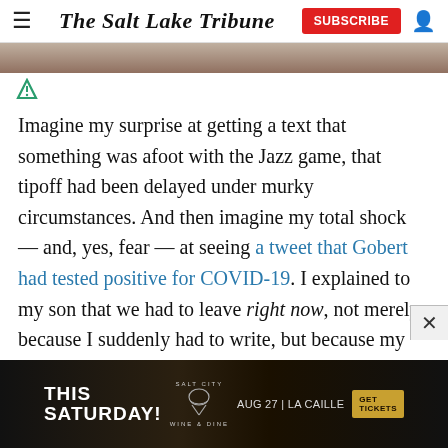The Salt Lake Tribune
[Figure (photo): Partial photo strip at top of article, showing blurred background image]
[Figure (logo): Freestar ad icon (triangle logo)]
Imagine my surprise at getting a text that something was afoot with the Jazz game, that tipoff had been delayed under murky circumstances. And then imagine my total shock — and, yes, fear — at seeing a tweet that Gobert had tested positive for COVID-19. I explained to my son that we had to leave right now, not merely because I suddenly had to write, but because my recent contact with the All-Star center might mean I shouldn't be ou
[Figure (photo): Advertisement banner at bottom: THIS SATURDAY! SALT CITY WINE & DINE, AUG 27 | LA CAILLE, GET TICKETS]